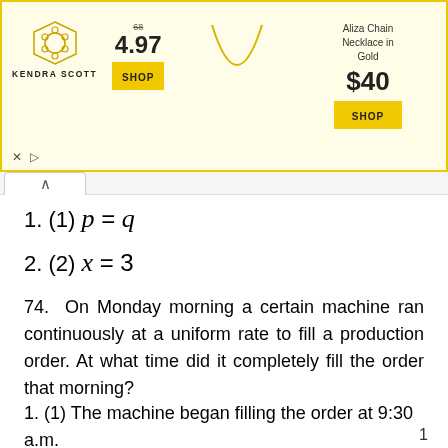[Figure (screenshot): Kendra Scott advertisement banner showing logo, price 4.97 (was 68), Aliza Chain Necklace in Gold for $40, with two SHOP buttons on yellow background]
74. On Monday morning a certain machine ran continuously at a uniform rate to fill a production order. At what time did it completely fill the order that morning?
1. (1) The machine began filling the order at 9:30 a.m.
1